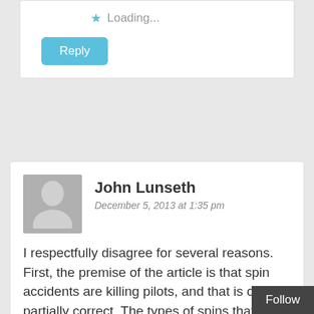Loading...
Reply
John Lunseth
December 5, 2013 at 1:35 pm
I respectfully disagree for several reasons. First, the premise of the article is that spin accidents are killing pilots, and that is only partially correct. The types of spins that cause fatalities in those accidents are not recoverable spins. The accidents are indeed “spin accidents,” but they are in reality “unrecoverable spin” accidents. They are low altitude “base to final” or
Follow